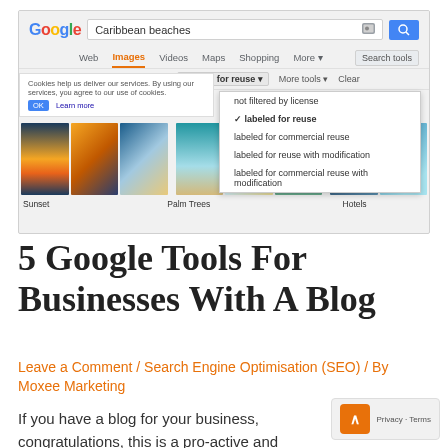[Figure (screenshot): Google Image search results for 'Caribbean beaches' showing the Images tab selected, a 'labeled for reuse' filter dropdown open, a cookie consent bar, and image thumbnails for Sunset, Palm Trees, and Hotels categories.]
5 Google Tools For Businesses With A Blog
Leave a Comment / Search Engine Optimisation (SEO) / By Moxee Marketing
If you have a blog for your business, congratulations, this is a pro-active and